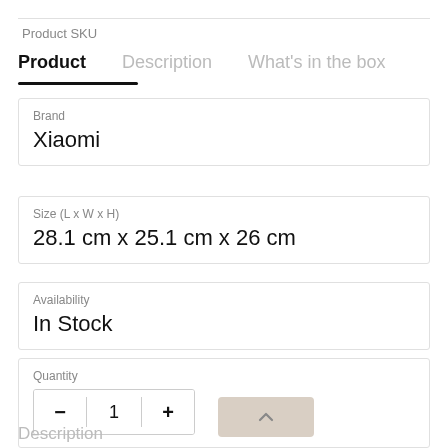Product SKU
Product | Description | What's in the box
| Label | Value |
| --- | --- |
| Brand | Xiaomi |
| Size (L x W x H) | 28.1 cm x 25.1 cm x 26 cm |
| Availability | In Stock |
| Quantity | 1 |
Description